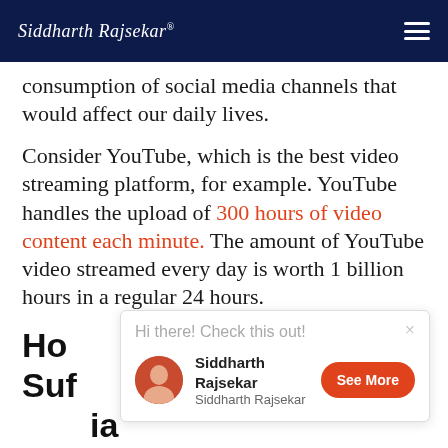Siddharth Rajsekar®
consumption of social media channels that would affect our daily lives.
Consider YouTube, which is the best video streaming platform, for example. YouTube handles the upload of 300 hours of video content each minute. The amount of YouTube video streamed every day is worth 1 billion hours in a regular 24 hours.
How to Know If You Suffer From Social Media Addiction
[Figure (screenshot): Popup notification showing 'Hi there! Check this out!' with profile of Siddharth Rajsekar and a 'See More' button]